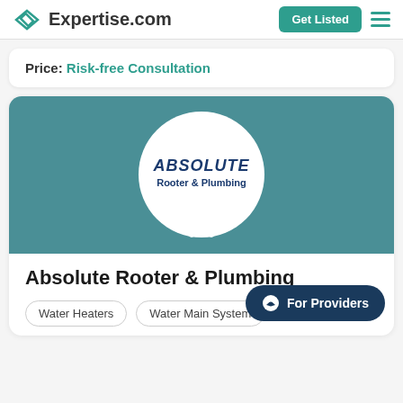Expertise.com  Get Listed
Price:  Risk-free Consultation
[Figure (logo): Absolute Rooter & Plumbing company logo inside a white circle with decorative white laurel wreath on teal background]
Absolute Rooter & Plumbing
Water Heaters
Water Main System